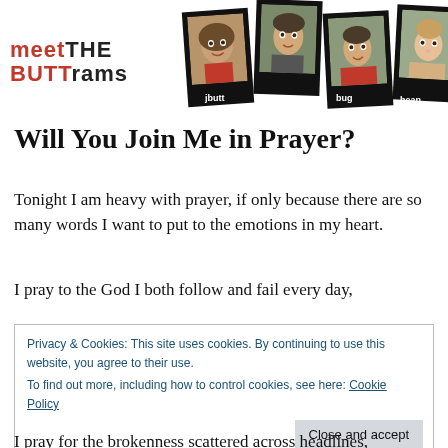[Figure (illustration): Blog header with logo reading 'meet THE BUTTrams' on the left and four polaroid-style photos of family members labeled jbutt, hubs, bug, bean on the right]
Will You Join Me in Prayer?
Tonight I am heavy with prayer, if only because there are so many words I want to put to the emotions in my heart.
I pray to the God I both follow and fail every day,
Privacy & Cookies: This site uses cookies. By continuing to use this website, you agree to their use.
To find out more, including how to control cookies, see here: Cookie Policy
I pray for the brokenness scattered across headlines,